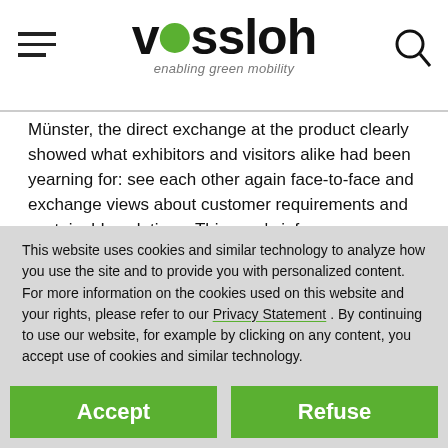vossloh enabling green mobility
Münster, the direct exchange at the product clearly showed what exhibitors and visitors alike had been yearning for: see each other again face-to-face and exchange views about customer requirements and sustainable solutions. This year's iaf was more international than ever, and the focused talks benefited from the friendly atmosphere.
This website uses cookies and similar technology to analyze how you use the site and to provide you with personalized content. For more information on the cookies used on this website and your rights, please refer to our Privacy Statement . By continuing to use our website, for example by clicking on any content, you accept use of cookies and similar technology.